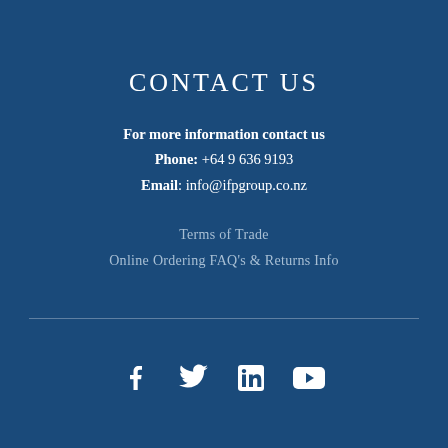CONTACT US
For more information contact us
Phone: +64 9 636 9193
Email: info@ifpgroup.co.nz
Terms of Trade
Online Ordering FAQ's & Returns Info
[Figure (illustration): Social media icons: Facebook, Twitter, LinkedIn, YouTube in white on dark blue background]